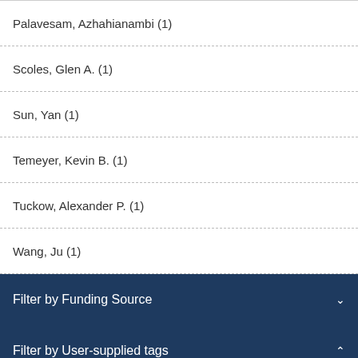Palavesam, Azhahianambi (1)
Scoles, Glen A. (1)
Sun, Yan (1)
Temeyer, Kevin B. (1)
Tuckow, Alexander P. (1)
Wang, Ju (1)
Filter by Funding Source
Filter by User-supplied tags
cattle ×
NP104 (3)
Bacteria (2)
Livestock (2)